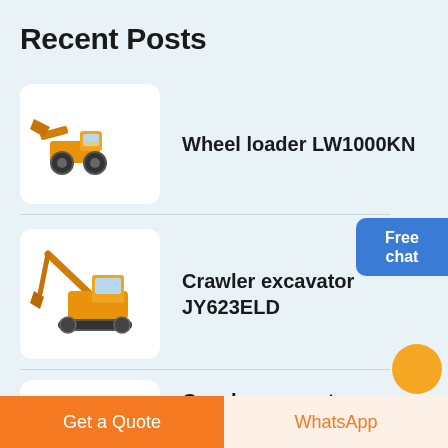Recent Posts
[Figure (photo): Wheel loader LW1000KN product thumbnail]
Wheel loader LW1000KN
[Figure (photo): Crawler excavator JY623ELD product thumbnail]
Crawler excavator JY623ELD
[Figure (photo): Crawler excavator XE490CK product thumbnail (partially visible)]
Crawler excavator XE490CK